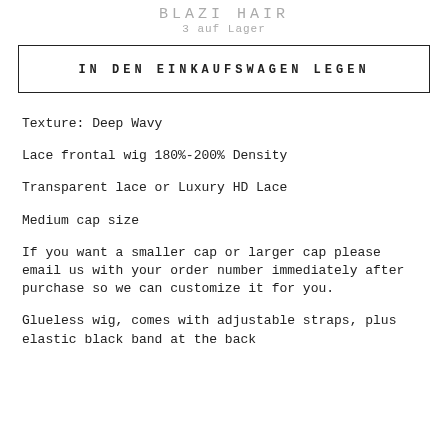BLAZI HAIR
3 auf Lager
IN DEN EINKAUFSWAGEN LEGEN
Texture: Deep Wavy
Lace frontal wig 180%-200% Density
Transparent lace or Luxury HD Lace
Medium cap size
If you want a smaller cap or larger cap please email us with your order number immediately after purchase so we can customize it for you.
Glueless wig, comes with adjustable straps, plus elastic black band at the back